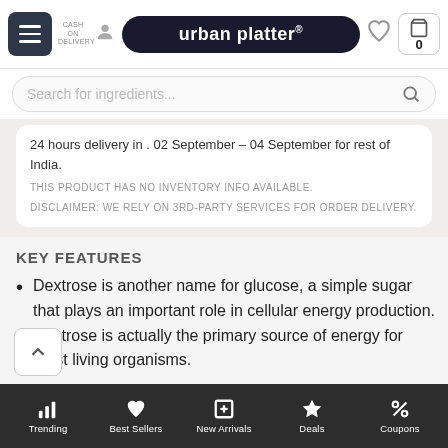urban platter®
Search for ingredients...
24 hours delivery in . 02 September – 04 September for rest of India.
THIS PRODUCT HAS NO INVENTORY INFO AVAILABLE.
DISCLAIMER: WE RELY ON 3RD-PARTY SERVICES FOR ORDER DELIVERY.
KEY FEATURES
Dextrose is another name for glucose, a simple sugar that plays an important role in cellular energy production. Dextrose is actually the primary source of energy for most living organisms.
Trending | Best Sellers | New Arrivals | Deals | Coupons